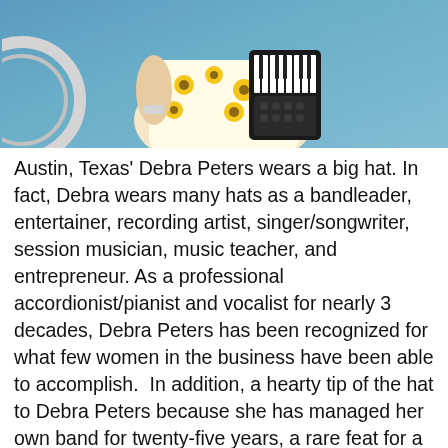[Figure (photo): Cropped photo of a person wearing a floral (yellow sunflower) top and playing an accordion, with a blue background and partial view of what appears to be a wheel.]
Austin, Texas' Debra Peters wears a big hat. In fact, Debra wears many hats as a bandleader, entertainer, recording artist, singer/songwriter, session musician, music teacher, and entrepreneur. As a professional accordionist/pianist and vocalist for nearly 3 decades, Debra Peters has been recognized for what few women in the business have been able to accomplish.  In addition, a hearty tip of the hat to Debra Peters because she has managed her own band for twenty-five years, a rare feat for a woman in the music industry. Early in her career, Debra Peters toured as a solo musician accompanying herself on piano and a drum machine, in clubs as far away as Japan,